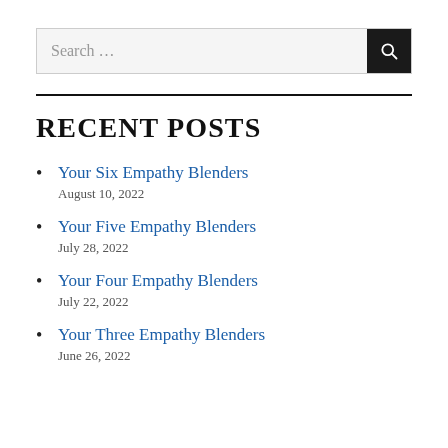[Figure (other): Search bar with text 'Search ...' and a dark search button with magnifying glass icon]
RECENT POSTS
Your Six Empathy Blenders
August 10, 2022
Your Five Empathy Blenders
July 28, 2022
Your Four Empathy Blenders
July 22, 2022
Your Three Empathy Blenders
June 26, 2022